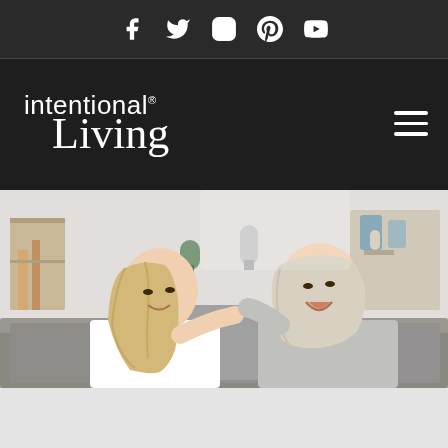Social media icons: Facebook, Twitter, Instagram, Pinterest, YouTube
[Figure (logo): Intentional Living logo in white text on dark background with hamburger menu icon]
[Figure (photo): Two women sitting on a grey couch laughing and talking together in a bright living room setting]